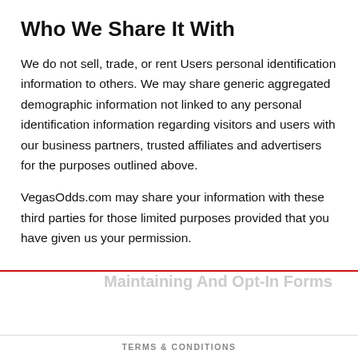Who We Share It With
We do not sell, trade, or rent Users personal identification information to others. We may share generic aggregated demographic information not linked to any personal identification information regarding visitors and users with our business partners, trusted affiliates and advertisers for the purposes outlined above.
VegasOdds.com may share your information with these third parties for those limited purposes provided that you have given us your permission.
[Figure (other): Advertisement bar for BetOnline with logo, 50% → $1000 first deposit bonus, 4.9 star rating, and BET NOW button]
TERMS & CONDITIONS